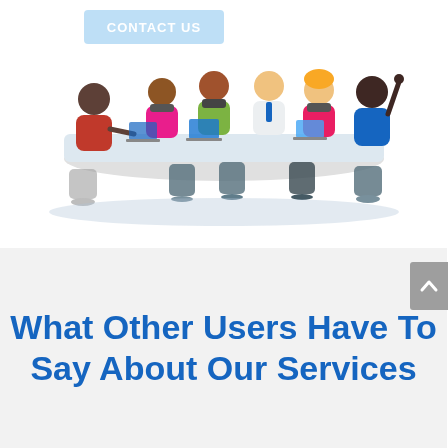[Figure (illustration): Cartoon illustration of diverse people sitting around a conference table in a meeting, with laptops and devices. A light blue banner in the upper left reads 'CONTACT US'.]
What Other Users Have To Say About Our Services